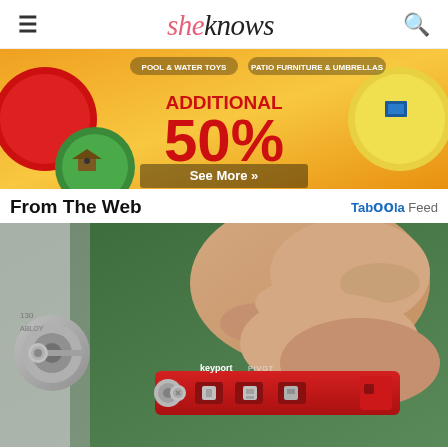sheknows
[Figure (photo): Advertisement banner with orange/yellow background showing 'ADDITIONAL 50%' sale text, with 'POOL & WATER TOYS' and 'PATIO FURNITURE & UMBRELLAS' labels, and circular product images]
From The Web
Taboola Feed
[Figure (photo): Photo of a hand holding a red Keyport PIVOT key organizer tool being inserted into a door lock]